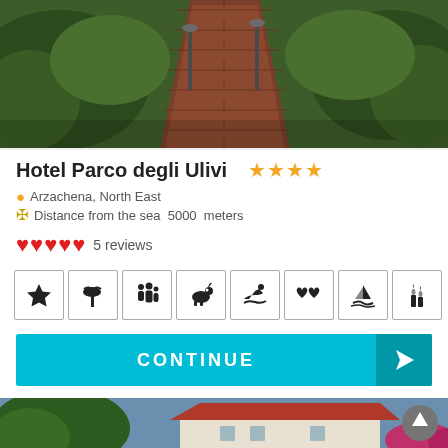[Figure (photo): Outdoor brick path leading through garden with green shrubs and lamp posts, viewed from above]
Hotel Parco degli Ulivi ★★★★
Arzachena, North East
Distance from the sea  5000  meters
❤❤❤❤❤ 5 reviews
[Figure (infographic): Row of 8 amenity icons: star, palm tree, family, dog, swimmer, hearts, sailboat, candles]
CONTINUE
[Figure (photo): Hotel exterior with red tile roof, trees and pink flowers, blue sky background]